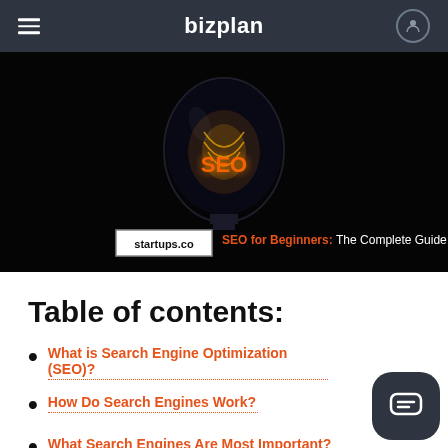bizplan
[Figure (illustration): Dark background hero image with a glowing filament light bulb that has 'SEO' written in orange glowing text inside the bulb. Below the bulb: 'startups.co' in a white box and 'SEO for Beginners: The Complete Guide' in orange and white text.]
Table of contents:
What is Search Engine Optimization (SEO)?
How Do Search Engines Work?
What Search Engines Are Most Important?